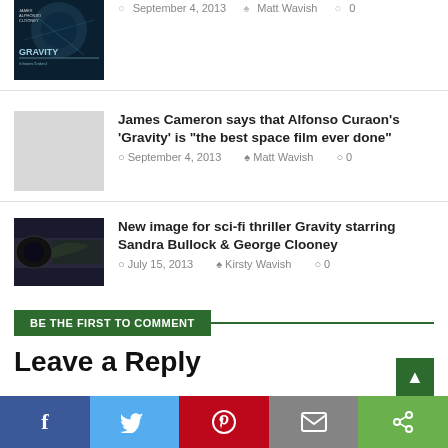[Figure (photo): Gravity movie poster thumbnail - dark blue sci-fi image]
September 4, 2013  Matt Wavish  0
James Cameron says that Alfonso Curaon's 'Gravity' is "the best space film ever done"
September 4, 2013  Matt Wavish  0
[Figure (photo): Dark sci-fi action image thumbnail for Gravity article]
New image for sci-fi thriller Gravity starring Sandra Bullock & George Clooney
July 15, 2013  Kirsty Wavish  0
BE THE FIRST TO COMMENT
Leave a Reply